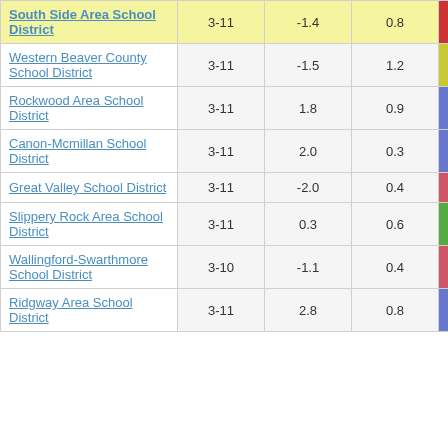| School District | Grades | Col3 | Col4 | Score |
| --- | --- | --- | --- | --- |
| South Side Area School District | 3-11 | -1.4 | 0.8 | -1.85 |
| Western Beaver County School District | 3-11 | -1.5 | 1.2 | -1.25 |
| Rockwood Area School District | 3-11 | 1.8 | 0.9 | 2.02 |
| Canon-Mcmillan School District | 3-11 | 2.0 | 0.3 | 5.77 |
| Great Valley School District | 3-11 | -2.0 | 0.4 | -5.13 |
| Slippery Rock Area School District | 3-11 | 0.3 | 0.6 | 0.49 |
| Wallingford-Swarthmore School District | 3-10 | -1.1 | 0.4 | -2.53 |
| Ridgway Area School District | 3-11 | 2.8 | 0.8 | 3.38 |